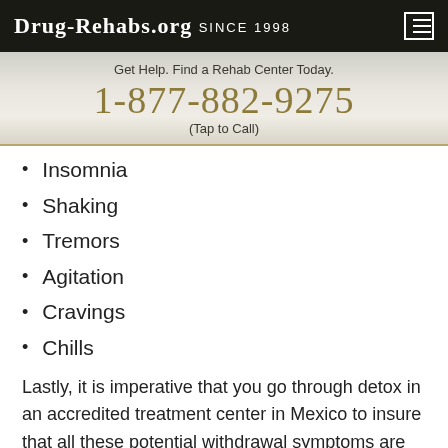Drug-Rehabs.org Since 1998
Get Help. Find a Rehab Center Today.
1-877-882-9275
(Tap to Call)
Insomnia
Shaking
Tremors
Agitation
Cravings
Chills
Lastly, it is imperative that you go through detox in an accredited treatment center in Mexico to insure that all these potential withdrawal symptoms are managed and that you do not give in to the temptation to relapse.
If you or someone you love needs assistance with an addiction problem, you can call anytime to talk to one of